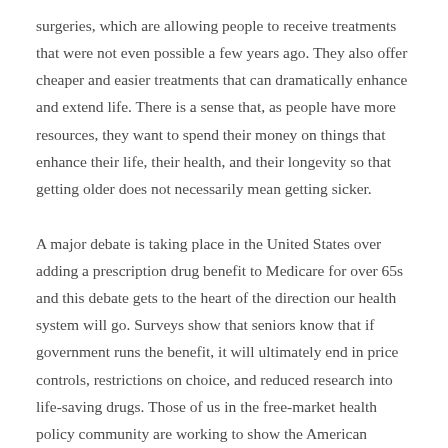surgeries, which are allowing people to receive treatments that were not even possible a few years ago. They also offer cheaper and easier treatments that can dramatically enhance and extend life. There is a sense that, as people have more resources, they want to spend their money on things that enhance their life, their health, and their longevity so that getting older does not necessarily mean getting sicker.
A major debate is taking place in the United States over adding a prescription drug benefit to Medicare for over 65s and this debate gets to the heart of the direction our health system will go. Surveys show that seniors know that if government runs the benefit, it will ultimately end in price controls, restrictions on choice, and reduced research into life-saving drugs. Those of us in the free-market health policy community are working to show the American people